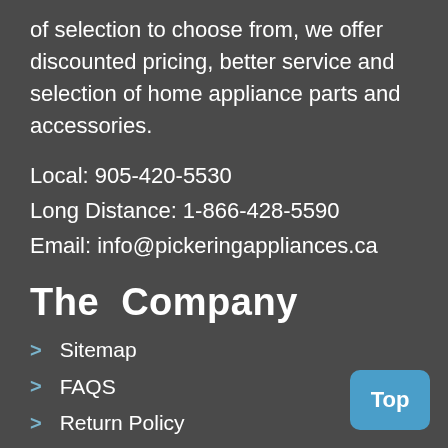of selection to choose from, we offer discounted pricing, better service and selection of home appliance parts and accessories.
Local: 905-420-5530
Long Distance: 1-866-428-5590
Email: info@pickeringappliances.ca
The Company
Sitemap
FAQS
Return Policy
Privacy Policy
Security Policy
Shipping Info
Services
Store locator